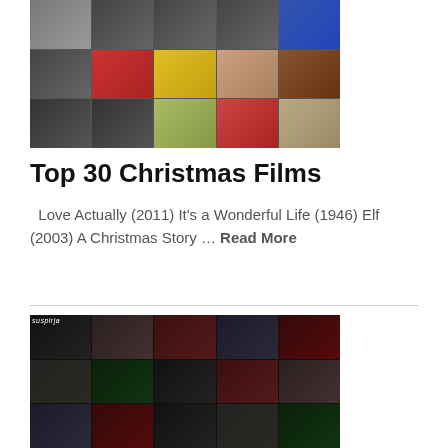[Figure (photo): Collage of Christmas film images including Santa Claus, Home Alone, Gremlins, Elf, and other holiday movies]
Top 30 Christmas Films
Love Actually (2011) It's a Wonderful Life (1946) Elf (2003) A Christmas Story … Read More
[Figure (photo): Collage of horror film images including Suspiria, The Shining, and other horror movies]